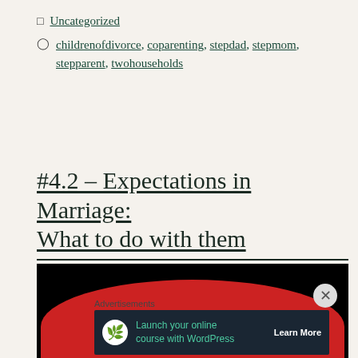Uncategorized
childrenofdivorce, coparenting, stepdad, stepmom, stepparent, twohouseholds
#4.2 – Expectations in Marriage: What to do with them
[Figure (photo): Red danger sign on black background with white bold text reading DANGER]
Advertisements
[Figure (infographic): Advertisement banner: Launch your online course with WordPress — Learn More]